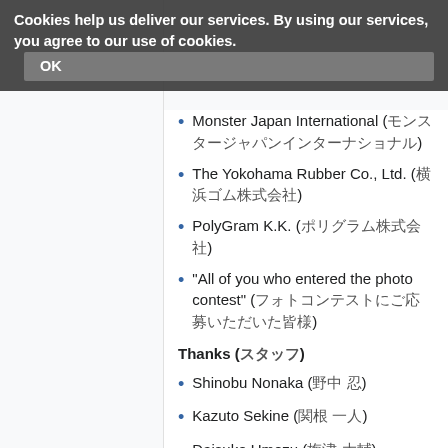Cookies help us deliver our services. By using our services, you agree to our use of cookies. OK
Monster Japan International (モンスタージャパンインターナショナル)
The Yokohama Rubber Co., Ltd. (横浜ゴム株式会社)
PolyGram K.K. (ポリグラム株式会社)
"All of you who entered the photo contest" (フォトコンテストにご応募いただいた皆様)
Thanks (スタッフ)
Shinobu Nonaka (野中 忍)
Kazuto Sekine (関根 一人)
Daisuke Umezu (梅津 大輔)
Kazuhiro Nomura (野村 一裕)
Tadayuki Hoshino (星野 忠幸)
Virtual Volleyball (SS)
Planning